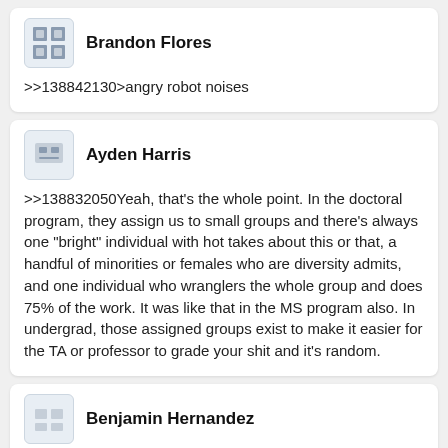Brandon Flores
>>138842130>angry robot noises
Ayden Harris
>>138832050Yeah, that's the whole point. In the doctoral program, they assign us to small groups and there's always one "bright" individual with hot takes about this or that, a handful of minorities or females who are diversity admits, and one individual who wranglers the whole group and does 75% of the work. It was like that in the MS program also. In undergrad, those assigned groups exist to make it easier for the TA or professor to grade your shit and it's random.
Benjamin Hernandez
>>138842398>In the doctoral program, they assign us to small groupswhat shitting doctorate program are you in